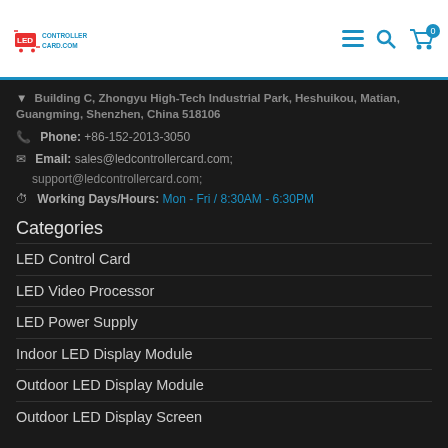[Figure (logo): LED Controller Card .com logo with shopping cart icon, red and blue colors]
Building C, Zhongyu High-Tech Industrial Park, Heshuikou, Matian, Guangming, Shenzhen, China 518106
Phone: +86-152-2013-3050
Email: sales@ledcontrollercard.com; support@ledcontrollercard.com;
Working Days/Hours: Mon - Fri / 8:30AM - 6:30PM
Categories
LED Control Card
LED Video Processor
LED Power Supply
Indoor LED Display Module
Outdoor LED Display Module
Outdoor LED Display Screen